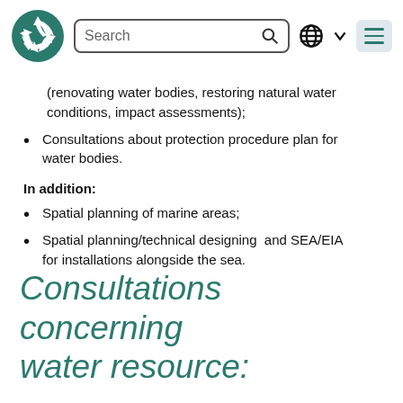[Figure (logo): Teal/dark green three-arrow recycling/environmental logo]
(renovating water bodies, restoring natural water conditions, impact assessments);
Consultations about protection procedure plan for water bodies.
In addition:
Spatial planning of marine areas;
Spatial planning/technical designing  and SEA/EIA for installations alongside the sea.
Consultations concerning water resource: